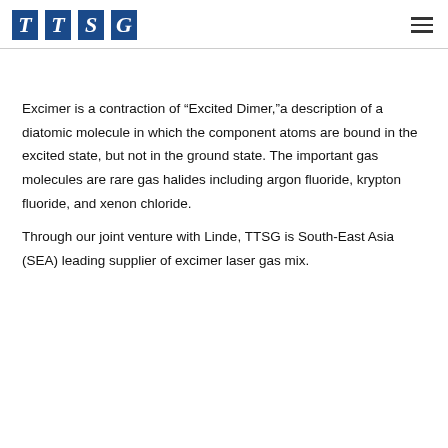[Figure (logo): TTSG logo with four blue square tiles each containing a white italic serif letter: T, T, S, G]
Excimer is a contraction of “Excited Dimer,”a description of a diatomic molecule in which the component atoms are bound in the excited state, but not in the ground state. The important gas molecules are rare gas halides including argon fluoride, krypton fluoride, and xenon chloride.
Through our joint venture with Linde, TTSG is South-East Asia (SEA) leading supplier of excimer laser gas mix.